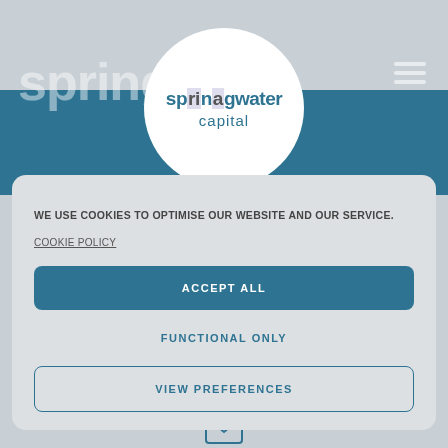[Figure (logo): Springwater Capital logo in a white circle on a teal/grey website header background. Logo text reads 'springwater capital' with stylized dotted letters.]
WE USE COOKIES TO OPTIMISE OUR WEBSITE AND OUR SERVICE.
COOKIE POLICY
ACCEPT ALL
FUNCTIONAL ONLY
VIEW PREFERENCES